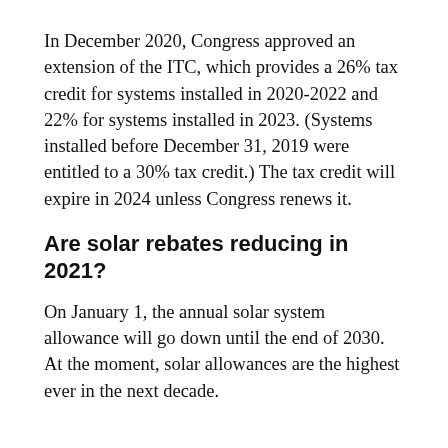In December 2020, Congress approved an extension of the ITC, which provides a 26% tax credit for systems installed in 2020-2022 and 22% for systems installed in 2023. (Systems installed before December 31, 2019 were entitled to a 30% tax credit.) The tax credit will expire in 2024 unless Congress renews it.
Are solar rebates reducing in 2021?
On January 1, the annual solar system allowance will go down until the end of 2030. At the moment, solar allowances are the highest ever in the next decade.